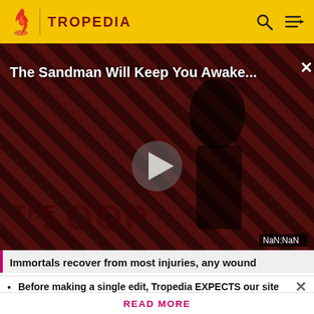TROPEDIA
[Figure (screenshot): Video player panel showing 'The Sandman Will Keep You Awake...' with a dark figure on a striped red/black background, a play button in the center, 'THE LOOP' text at the bottom, and a NaN:NaN time display badge.]
Immortals recover from most injuries, any wound
Before making a single edit, Tropedia EXPECTS our site policy and manual of style to be followed. Failure to do so may
READ MORE